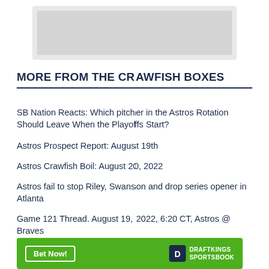[Figure (photo): Placeholder image at top of page, appears to be a sports/article thumbnail image with light gray background]
MORE FROM THE CRAWFISH BOXES
SB Nation Reacts: Which pitcher in the Astros Rotation Should Leave When the Playoffs Start?
Astros Prospect Report: August 19th
Astros Crawfish Boil: August 20, 2022
Astros fail to stop Riley, Swanson and drop series opener in Atlanta
Game 121 Thread. August 19, 2022, 6:20 CT, Astros @ Braves
Astros Prospect Report: August 18th
[Figure (logo): DraftKings Sportsbook advertisement banner with green background, Bet Now button, and DraftKings Sportsbook logo]